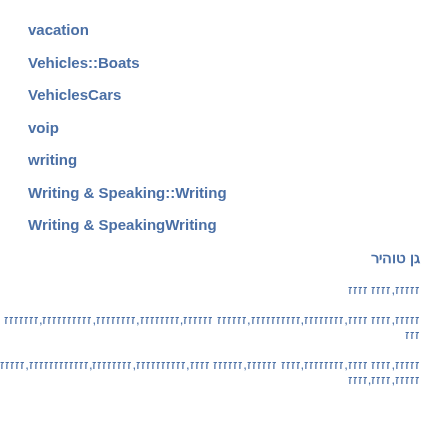vacation
Vehicles::Boats
VehiclesCars
voip
writing
Writing & Speaking::Writing
Writing & SpeakingWriting
גן טוהיר
זזזזז,זזזז זזזז
זזזזז,זזזז זזזז,זזזזזזזז,זזזזזזזזזז,זזזזזז זזזזזז,זזזזזזזז,זזזזזזזז,זזזזזזזזזז,זזזזזזזזזז
זזזזז,זזזז זזזז,זזזזזזזז,זזזז זזזזזז,זזזזזז זזזז,זזזזזזזזזז,זזזזזזזז,זזזזזזזזזזזז,זזזזזזזזזז,זזזז,זזזז